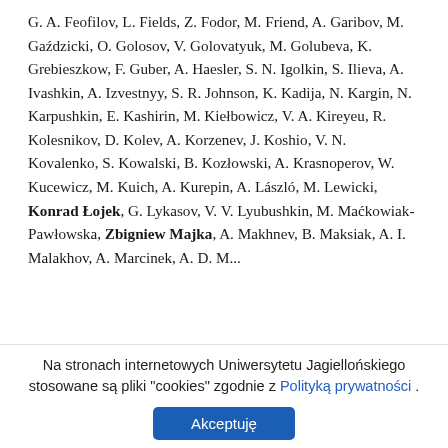G. A. Feofilov, L. Fields, Z. Fodor, M. Friend, A. Garibov, M. Gaździcki, O. Golosov, V. Golovatyuk, M. Golubeva, K. Grebieszkow, F. Guber, A. Haesler, S. N. Igolkin, S. Ilieva, A. Ivashkin, A. Izvestnyy, S. R. Johnson, K. Kadija, N. Kargin, N. Karpushkin, E. Kashirin, M. Kiełbowicz, V. A. Kireyeu, R. Kolesnikov, D. Kolev, A. Korzenev, J. Koshio, V. N. Kovalenko, S. Kowalski, B. Kozłowski, A. Krasnoperov, W. Kucewicz, M. Kuich, A. Kurepin, A. László, M. Lewicki, Konrad Łojek, G. Lykasov, V. V. Lyubushkin, M. Maćkowiak-Pawłowska, Zbigniew Majka, A. Makhnev, B. Maksiak, A. I. Malakhov, A. Marcinek, A. D. M...
Na stronach internetowych Uniwersytetu Jagiellońskiego stosowane są pliki "cookies" zgodnie z Polityką prywatności .
Akceptuję